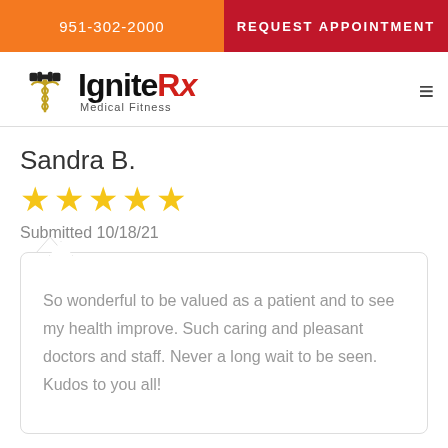951-302-2000
REQUEST APPOINTMENT
[Figure (logo): IgniteRx Medical Fitness logo with dumbbell and caduceus icon]
Sandra B.
[Figure (other): 5 gold stars rating]
Submitted 10/18/21
So wonderful to be valued as a patient and to see my health improve. Such caring and pleasant doctors and staff. Never a long wait to be seen. Kudos to you all!